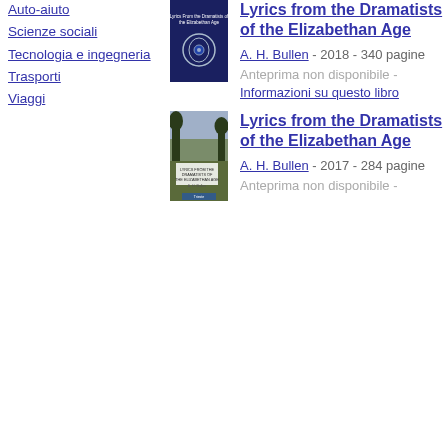Auto-aiuto
Scienze sociali
Tecnologia e ingegneria
Trasporti
Viaggi
[Figure (illustration): Book cover for Lyrics from the Dramatists of the Elizabethan Age, dark blue cover with laurel wreath emblem]
Lyrics from the Dramatists of the Elizabethan Age
A. H. Bullen - 2018 - 340 pagine
Anteprima non disponibile - Informazioni su questo libro
[Figure (illustration): Book cover for Lyrics from the Dramatists of the Elizabethan Age, landscape/nature scene cover]
Lyrics from the Dramatists of the Elizabethan Age
A. H. Bullen - 2017 - 284 pagine
Anteprima non disponibile -